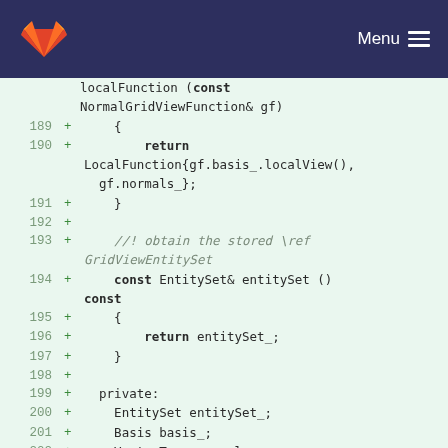Menu
[Figure (screenshot): GitLab diff view showing C++ code lines 189-202 with added lines marker (+)]
localFunction (const NormalGridViewFunction& gf)
189 + {
190 +     return LocalFunction{gf.basis_.localView(), gf.normals_};
191 + }
192 +
193 +     //! obtain the stored \ref GridViewEntitySet
194 + const EntitySet& entitySet () const
195 + {
196 +     return entitySet_;
197 + }
198 +
199 + private:
200 +     EntitySet entitySet_;
201 +     Basis basis_;
202 +     VectorType normals_;